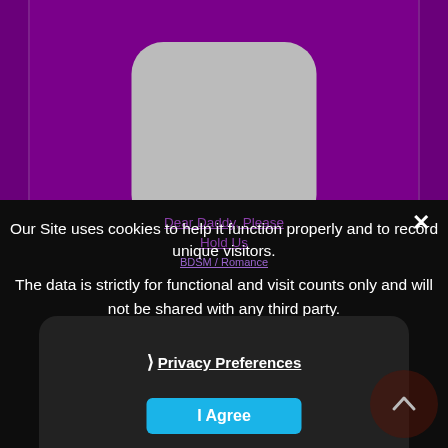[Figure (screenshot): Purple background with rounded rectangle app icon placeholder (grey)]
Dear Daddy, Please Hold Us
BDSM / Romance
Our Site uses cookies to help it function properly and to record unique visitors.
The data is strictly for functional and visit counts only and will not be shared with any third party.
❯ Privacy Preferences
I Agree